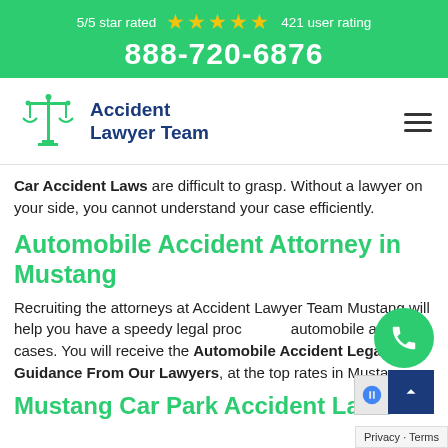5/5 star rated ★★★★★ 421 user rating
888-720-6876
[Figure (logo): Accident Lawyer Team logo with scales of justice icon and navy blue text]
Car Accident Laws are difficult to grasp. Without a lawyer on your side, you cannot understand your case efficiently.
Automobile Accident Attorney in Mustang
Recruiting the attorneys at Accident Lawyer Team Mustang will help you have a speedy legal process for automobile accident cases. You will receive the Automobile Accident Legal Guidance From Our Lawyers, at the top rates in Mustang.
Mustang Car Park Accident Law